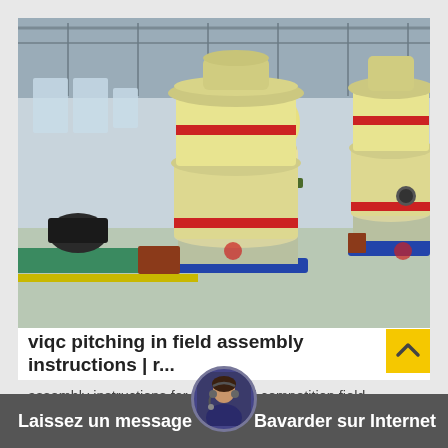[Figure (photo): Industrial factory interior showing large yellow industrial machines (cone crushers or mills) with red accent bands, mounted on blue steel frames, arranged in a row inside a large factory hall with green floor markings, bright windows, and industrial ceiling structure.]
viqc pitching in field assembly instructions | r...
assembly instructions for the official competition field.
inspiring students, one ro[bot at a] time.
Laissez un message   Bavarder sur Internet